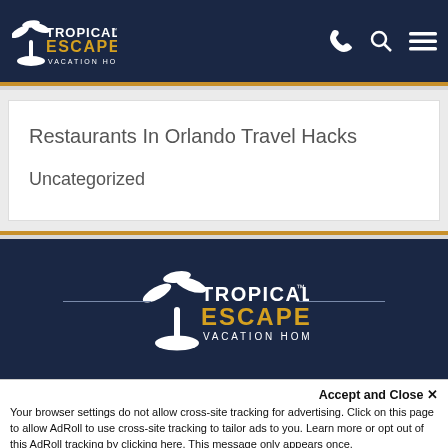Tropical Escape Vacation Homes
Restaurants In Orlando Travel Hacks
Uncategorized
[Figure (logo): Tropical Escape Vacation Homes logo in footer — white palm tree silhouette with TROPICAL in white and ESCAPE in gold/yellow, VACATION HOMES below in white small caps, on dark navy background]
Accept and Close ✕
Your browser settings do not allow cross-site tracking for advertising. Click on this page to allow AdRoll to use cross-site tracking to tailor ads to you. Learn more or opt out of this AdRoll tracking by clicking here. This message only appears once.